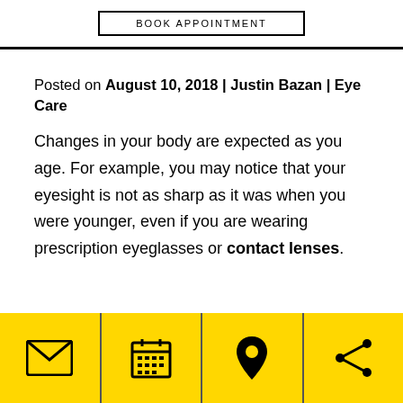BOOK APPOINTMENT
Posted on August 10, 2018 | Justin Bazan | Eye Care
Changes in your body are expected as you age. For example, you may notice that your eyesight is not as sharp as it was when you were younger, even if you are wearing prescription eyeglasses or contact lenses.
[Figure (infographic): Yellow footer bar with four icons: envelope (email), calendar (book appointment), map pin (location), share icon]